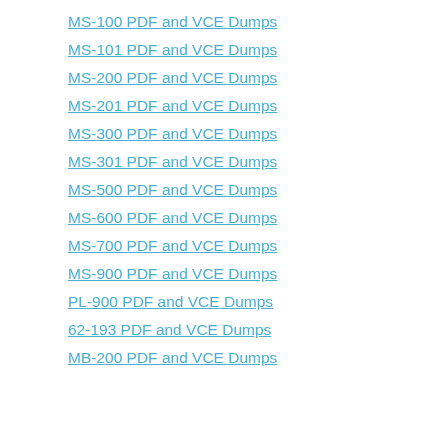MS-100 PDF and VCE Dumps
MS-101 PDF and VCE Dumps
MS-200 PDF and VCE Dumps
MS-201 PDF and VCE Dumps
MS-300 PDF and VCE Dumps
MS-301 PDF and VCE Dumps
MS-500 PDF and VCE Dumps
MS-600 PDF and VCE Dumps
MS-700 PDF and VCE Dumps
MS-900 PDF and VCE Dumps
PL-900 PDF and VCE Dumps
62-193 PDF and VCE Dumps
MB-200 PDF and VCE Dumps